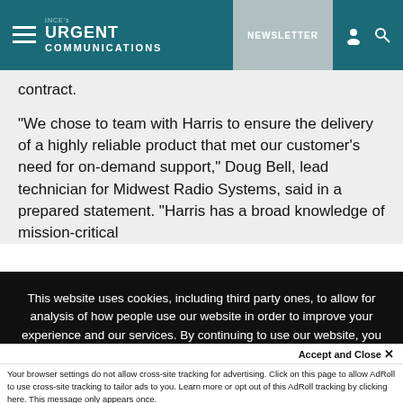INCE's URGENT COMMUNICATIONS — NEWSLETTER
contract.
“We chose to team with Harris to ensure the delivery of a highly reliable product that met our customer’s need for on-demand support,” Doug Bell, lead technician for Midwest Radio Systems, said in a prepared statement. “Harris has a broad knowledge of mission-critical
This website uses cookies, including third party ones, to allow for analysis of how people use our website in order to improve your experience and our services. By continuing to use our website, you agree to the use of such cookies. Click here for more information on our Cookie Policy and Privacy Policy
Accept and Close ×
Your browser settings do not allow cross-site tracking for advertising. Click on this page to allow AdRoll to use cross-site tracking to tailor ads to you. Learn more or opt out of this AdRoll tracking by clicking here. This message only appears once.